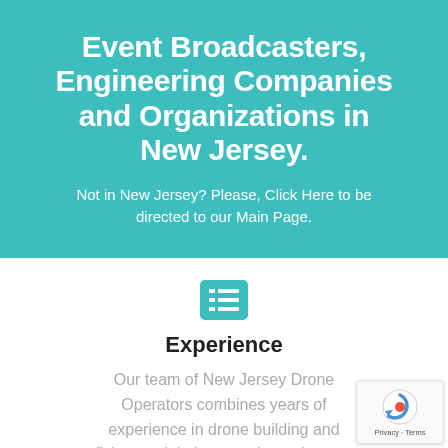Event Broadcasters, Engineering Companies and Organizations in New Jersey.
Not in New Jersey? Please, Click Here to be directed to our Main Page.
[Figure (illustration): Teal rounded rectangle icon containing a list/bullet icon in white]
Experience
Our team of New Jersey Drone Operators combines years of experience in drone building and flying, aerial photography and camera...